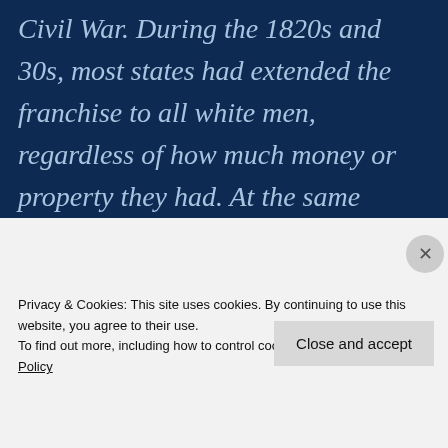in the decades before the Civil War. During the 1820s and 30s, most states had extended the franchise to all white men, regardless of how much money or property they had. At the same time, all sorts of reform groups were proliferating across the
Privacy & Cookies: This site uses cookies. By continuing to use this website, you agree to their use.
To find out more, including how to control cookies, see here: Cookie Policy
Close and accept